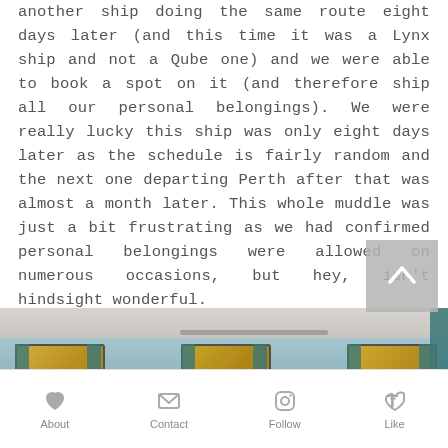another ship doing the same route eight days later (and this time it was a Lynx ship and not a Qube one) and we were able to book a spot on it (and therefore ship all our personal belongings). We were really lucky this ship was only eight days later as the schedule is fairly random and the next one departing Perth after that was almost a month later. This whole muddle was just a bit frustrating as we had confirmed personal belongings were allowed on numerous occasions, but hey, isn't hindsight wonderful.
[Figure (photo): Interior of a vehicle or camper van showing windows with curtains and overhead ceiling panels]
About   Contact   Follow   Like